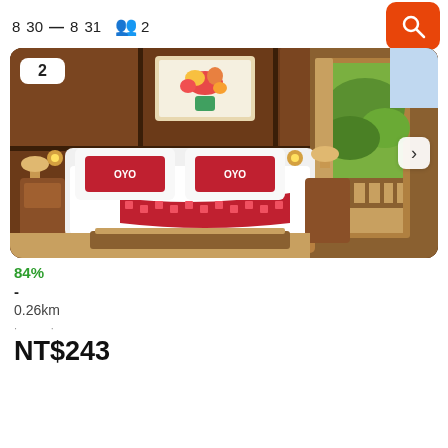8  30  —8  31    👥 2
[Figure (photo): Hotel room with wooden walls, a double bed with OYO red pillows and red patterned runner, a floral painting on the wall, and an open door showing a balcony and greenery outside.]
84%
-
0.26km
NT$243